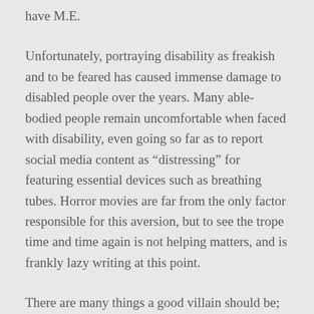have M.E.
Unfortunately, portraying disability as freakish and to be feared has caused immense damage to disabled people over the years. Many able-bodied people remain uncomfortable when faced with disability, even going so far as to report social media content as “distressing” for featuring essential devices such as breathing tubes. Horror movies are far from the only factor responsible for this aversion, but to see the trope time and time again is not helping matters, and is frankly lazy writing at this point.
There are many things a good villain should be; charismatic, powerful, an impeccable dresser, and British. A villain should have an interesting motive but commit terrible actions to achieve their goal. A